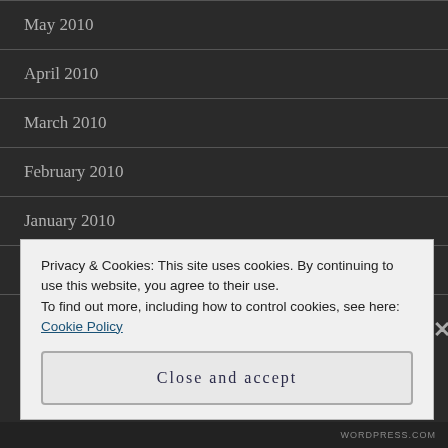May 2010
April 2010
March 2010
February 2010
January 2010
December 2009
November 2009
Privacy & Cookies: This site uses cookies. By continuing to use this website, you agree to their use.
To find out more, including how to control cookies, see here: Cookie Policy
Close and accept
WORDPRESS.COM